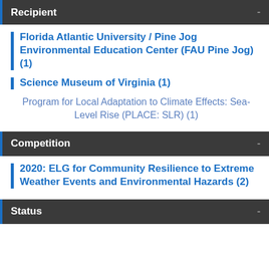Recipient
Florida Atlantic University / Pine Jog Environmental Education Center (FAU Pine Jog) (1)
Science Museum of Virginia (1)
Program for Local Adaptation to Climate Effects: Sea-Level Rise (PLACE: SLR) (1)
Competition
2020: ELG for Community Resilience to Extreme Weather Events and Environmental Hazards (2)
Status